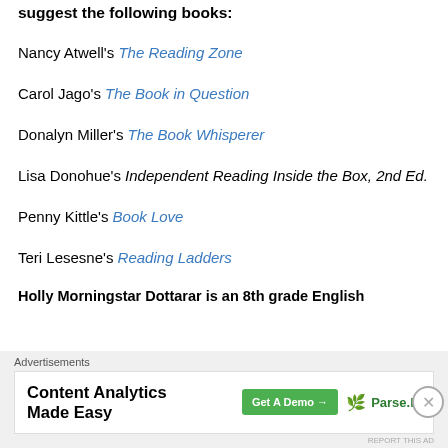suggest the following books:
Nancy Atwell's The Reading Zone
Carol Jago's The Book in Question
Donalyn Miller's The Book Whisperer
Lisa Donohue's Independent Reading Inside the Box, 2nd Ed.
Penny Kittle's Book Love
Teri Lesesne's Reading Ladders
Holly Morningstar Dottarar is an 8th grade English
Advertisements
Content Analytics Made Easy